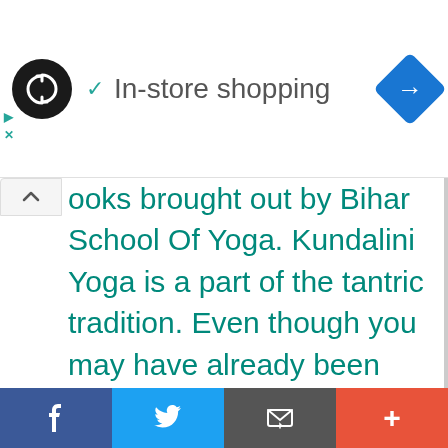[Figure (screenshot): App UI bar showing a logo (black circle with loop arrows), a teal checkmark, text 'In-store shopping', and a blue navigation diamond icon on the right. Small teal play/close icons on the left below.]
ooks brought out by Bihar School Of Yoga. Kundalini Yoga is a part of the tantric tradition. Even though you may have already been introduced to yoga, it is necessary to know something about tantra also. Since ancient times, the wise have realised that mind can be expanded and that experiences do not necessarily depend on the object. This means that if somebody is playing
[Figure (screenshot): Bottom social sharing bar with four buttons: Facebook (blue), Twitter (light blue), Email/envelope (dark grey), and Plus/more (orange-red).]